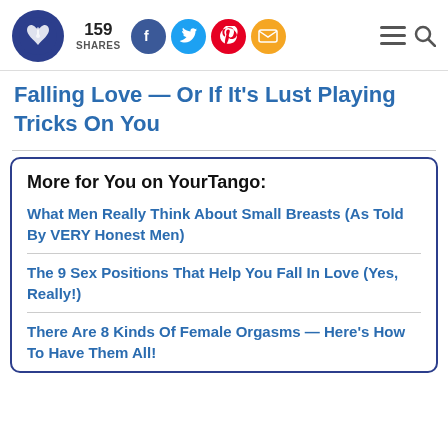159 SHARES | social share buttons | menu and search icons
Falling Love — Or If It's Lust Playing Tricks On You
More for You on YourTango:
What Men Really Think About Small Breasts (As Told By VERY Honest Men)
The 9 Sex Positions That Help You Fall In Love (Yes, Really!)
There Are 8 Kinds Of Female Orgasms — Here's How To Have Them All!